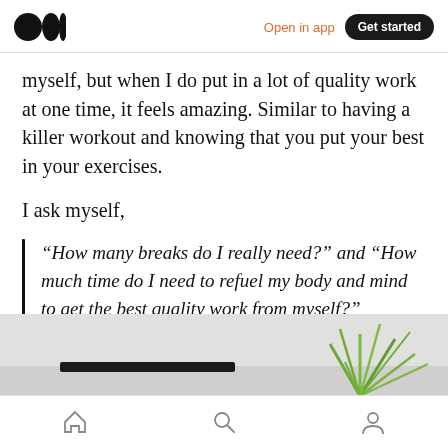Open in app  Get started
myself, but when I do put in a lot of quality work at one time, it feels amazing. Similar to having a killer workout and knowing that you put your best in your exercises.
I ask myself,
“How many breaks do I really need?” and “How much time do I need to refuel my body and mind to get the best quality work from myself?”
[Figure (photo): Partial view of a desk scene showing a dark object (possibly a book or device) and a green plant on a light gray background]
Home  Search  Profile